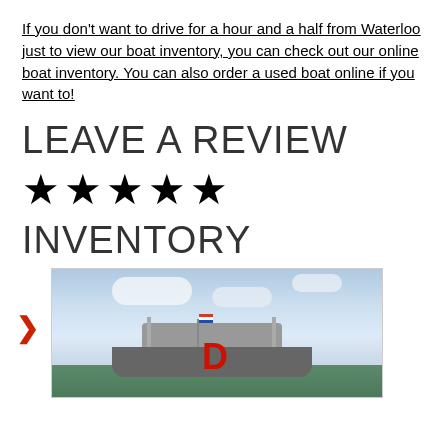If you don't want to drive for a hour and a half from Waterloo just to view our boat inventory, you can check out our online boat inventory. You can also order a used boat online if you want to!
LEAVE A REVIEW
★★★★★
INVENTORY
[Figure (photo): Photo of a boat with a T-top canopy on the water, with a red logo/brand mark visible on the side of the boat. Sky with clouds in background. A red right-arrow navigation icon appears to the left of the image.]